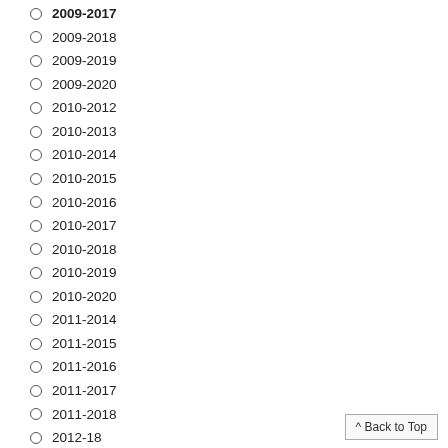2009-2017
2009-2018
2009-2019
2009-2020
2010-2012
2010-2013
2010-2014
2010-2015
2010-2016
2010-2017
2010-2018
2010-2019
2010-2020
2011-2014
2011-2015
2011-2016
2011-2017
2011-2018
2012-18
2012-2013
2012-2016
2012-2017
2012-2018
2013-2016